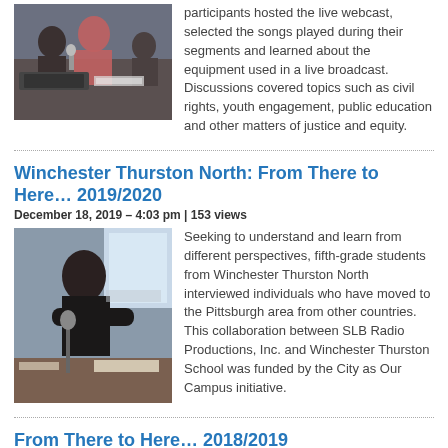[Figure (photo): People at a radio broadcast desk with microphones and equipment]
participants hosted the live webcast, selected the songs played during their segments and learned about the equipment used in a live broadcast. Discussions covered topics such as civil rights, youth engagement, public education and other matters of justice and equity.
Winchester Thurston North: From There to Here… 2019/2020
December 18, 2019 – 4:03 pm | 153 views
[Figure (photo): Woman sitting at a desk with a microphone in a radio studio]
Seeking to understand and learn from different perspectives, fifth-grade students from Winchester Thurston North interviewed individuals who have moved to the Pittsburgh area from other countries. This collaboration between SLB Radio Productions, Inc. and Winchester Thurston School was funded by the City as Our Campus initiative.
From There to Here… 2018/2019
February 8, 2019 – 4:30 pm | 588 views
[Figure (photo): Colorful image partially visible at bottom of page]
As part of their Fall 2018 Social Studies